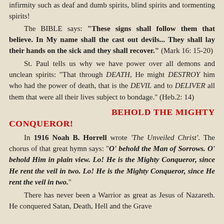infirmity such as deaf and dumb spirits, blind spirits and tormenting spirits!
The BIBLE says: “These signs shall follow them that believe. In My name shall the cast out devils... They shall lay their hands on the sick and they shall recover.” (Mark 16: 15-20)
St. Paul tells us why we have power over all demons and unclean spirits: “That through DEATH, He might DESTROY him who had the power of death, that is the DEVIL and to DELIVER all them that were all their lives subject to bondage.” (Heb.2: 14)
BEHOLD THE MIGHTY CONQUEROR!
In 1916 Noah B. Horrell wrote ‘The Unveiled Christ’. The chorus of that great hymn says: “O’ behold the Man of Sorrows. O’ behold Him in plain view. Lo! He is the Mighty Conqueror, since He rent the veil in two. Lo! He is the Mighty Conqueror, since He rent the veil in two.”
There has never been a Warrior as great as Jesus of Nazareth. He conquered Satan, Death, Hell and the Grave